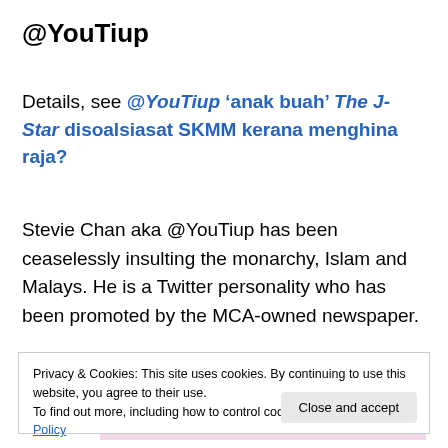@YouTiup
Details, see @YouTiup ‘anak buah’ The J-Star disoalsiasat SKMM kerana menghina raja?
Stevie Chan aka @YouTiup has been ceaselessly insulting the monarchy, Islam and Malays. He is a Twitter personality who has been promoted by the MCA-owned newspaper.
[Figure (screenshot): Pink promotional banner with 'Start Today' dark button]
Privacy & Cookies: This site uses cookies. By continuing to use this website, you agree to their use.
To find out more, including how to control cookies, see here: Cookie Policy
Close and accept